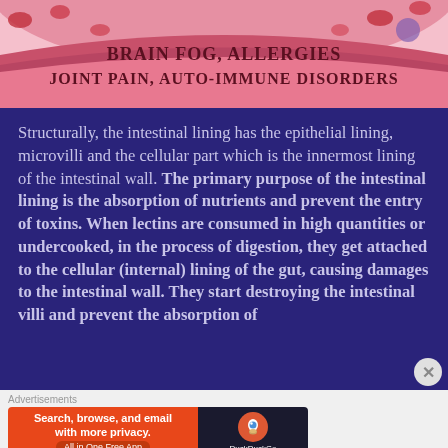[Figure (illustration): Medical illustration showing intestinal/blood vessel anatomy with text overlay reading 'Brain Fog, Allergies Joint Pain, Auto-Immune Disorders' in pink/dark text on a curved intestinal lining with red blood cells visible]
Structurally, the intestinal lining has the epithelial lining, microvilli and the cellular part which is the innermost lining of the intestinal wall. The primary purpose of the intestinal lining is the absorption of nutrients and prevent the entry of toxins. When lectins are consumed in high quantities or undercooked, in the process of digestion, they get attached to the cellular (internal) lining of the gut, causing damages to the intestinal wall. They start destroying the intestinal villi and prevent the absorption of
[Figure (screenshot): Advertisement banner for DuckDuckGo: 'Search, browse, and email with more privacy. All in One Free App' with DuckDuckGo logo on dark background]